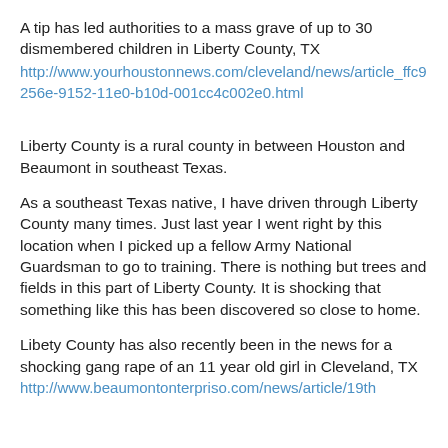A tip has led authorities to a mass grave of up to 30 dismembered children in Liberty County, TX
http://www.yourhoustonnews.com/cleveland/news/article_ffc9256e-9152-11e0-b10d-001cc4c002e0.html
Liberty County is a rural county in between Houston and Beaumont in southeast Texas.
As a southeast Texas native, I have driven through Liberty County many times. Just last year I went right by this location when I picked up a fellow Army National Guardsman to go to training. There is nothing but trees and fields in this part of Liberty County. It is shocking that something like this has been discovered so close to home.
Libety County has also recently been in the news for a shocking gang rape of an 11 year old girl in Cleveland, TX http://www.beaumontonterpriso.com/news/article/19th